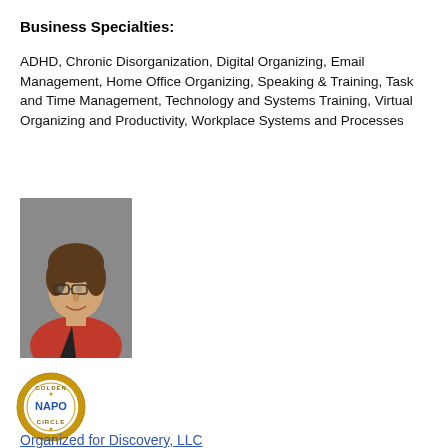Business Specialties:
ADHD, Chronic Disorganization, Digital Organizing, Email Management, Home Office Organizing, Speaking & Training, Task and Time Management, Technology and Systems Training, Virtual Organizing and Productivity, Workplace Systems and Processes
[Figure (photo): Professional headshot of a woman with short brown hair, glasses, and a red jacket, smiling, against a grey background]
[Figure (logo): NAPO Golden Circle badge — circular gold-bordered seal with 'GOLDEN' at top, 'NAPO' in center, 'CIRCLE' at bottom]
Organized for Discovery, LLC